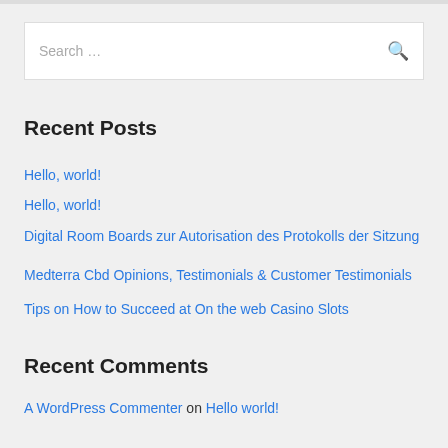Search …
Recent Posts
Hello, world!
Hello, world!
Digital Room Boards zur Autorisation des Protokolls der Sitzung
Medterra Cbd Opinions, Testimonials & Customer Testimonials
Tips on How to Succeed at On the web Casino Slots
Recent Comments
A WordPress Commenter on Hello world!